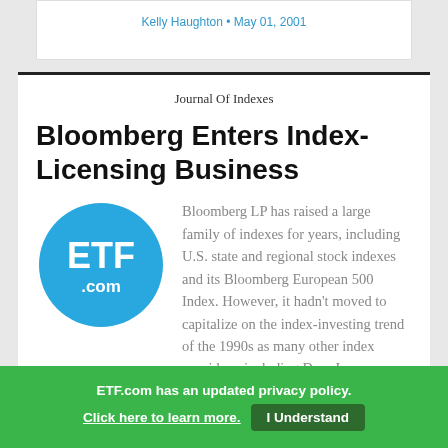Kelly Haughton • May 01, 2001
Journal Of Indexes
Bloomberg Enters Index-Licensing Business
[Figure (logo): ETF.com circular blue logo with white text reading ETF .com]
Bloomberg LP has raised a large family of indexes for years, including U.S. state and regional stock indexes and its Bloomberg European 500 Index. However, it hadn't moved to capitalize on the index-investing trend of the 1990s as many other index providers, including Dow Jones, Morgan Stanley
ETF.com has an updated privacy policy. Click here to learn more. I Understand